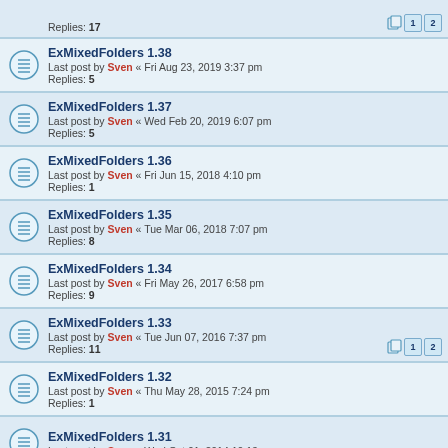Replies: 17 [pages 1 2]
ExMixedFolders 1.38
Last post by Sven « Fri Aug 23, 2019 3:37 pm
Replies: 5
ExMixedFolders 1.37
Last post by Sven « Wed Feb 20, 2019 6:07 pm
Replies: 5
ExMixedFolders 1.36
Last post by Sven « Fri Jun 15, 2018 4:10 pm
Replies: 1
ExMixedFolders 1.35
Last post by Sven « Tue Mar 06, 2018 7:07 pm
Replies: 8
ExMixedFolders 1.34
Last post by Sven « Fri May 26, 2017 6:58 pm
Replies: 9
ExMixedFolders 1.33
Last post by Sven « Tue Jun 07, 2016 7:37 pm
Replies: 11 [pages 1 2]
ExMixedFolders 1.32
Last post by Sven « Thu May 28, 2015 7:24 pm
Replies: 1
ExMixedFolders 1.31
Last post by Sven « Wed Oct 01, 2014 10:13 am
ExMixedFolders 1.30
Last post by Sven « Sat May 17, 2014 12:02 pm